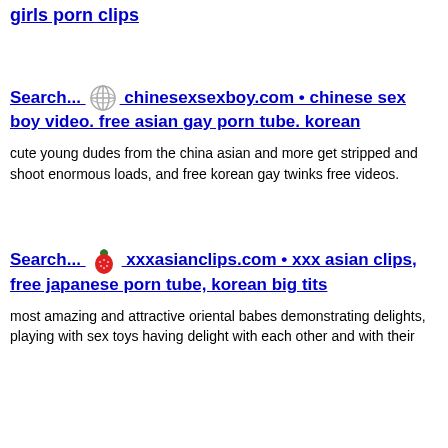girls porn clips
Search... chinesexsexboy.com • chinese sex boy video. free asian gay porn tube. korean
cute young dudes from the china asian and more get stripped and shoot enormous loads, and free korean gay twinks free videos.
Search... xxxasianclips.com • xxx asian clips, free japanese porn tube, korean big tits
most amazing and attractive oriental babes demonstrating delights, playing with sex toys having delight with each other and with their